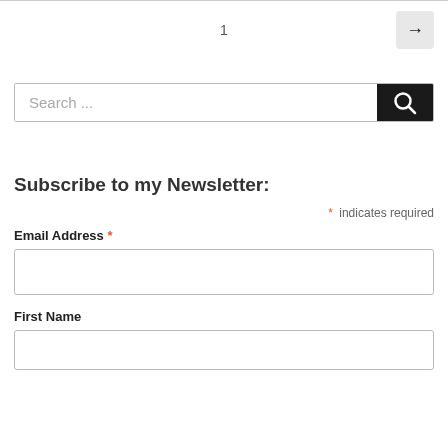1
[Figure (screenshot): Search bar with placeholder text 'Search ...' and a black search button with magnifying glass icon]
Subscribe to my Newsletter:
* indicates required
Email Address *
First Name